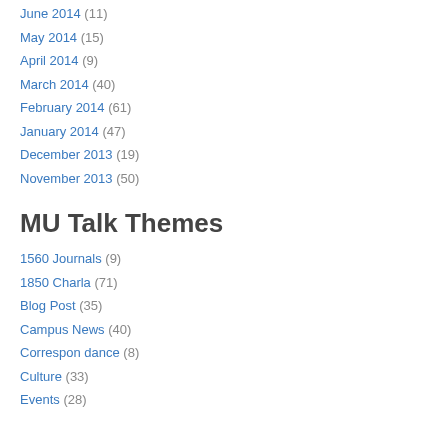June 2014 (11)
May 2014 (15)
April 2014 (9)
March 2014 (40)
February 2014 (61)
January 2014 (47)
December 2013 (19)
November 2013 (50)
MU Talk Themes
1560 Journals (9)
1850 Charla (71)
Blog Post (35)
Campus News (40)
Correspon dance (8)
Culture (33)
Events (28)